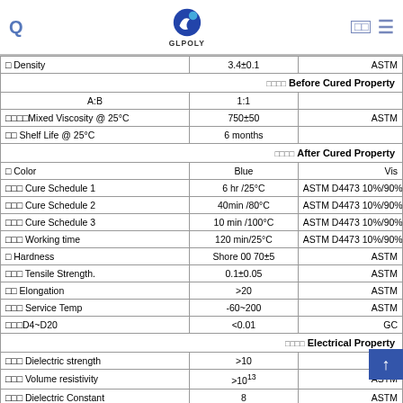GLPOLY
| Property | Value | Standard |
| --- | --- | --- |
| Density | 3.4±0.1 | ASTM |
| Before Cured Property |  |  |
| A:B | 1:1 |  |
| Mixed Viscosity @ 25°C | 750±50 | ASTM |
| Shelf Life @ 25°C | 6 months |  |
| After Cured Property |  |  |
| Color | Blue | Vis |
| Cure Schedule 1 | 6 hr /25°C | ASTM D4473 10%/90% hardnes |
| Cure Schedule 2 | 40min /80°C | ASTM D4473 10%/90% hardnes |
| Cure Schedule 3 | 10 min /100°C | ASTM D4473 10%/90% hardnes |
| Working time | 120 min/25°C | ASTM D4473 10%/90% hardnes |
| Hardness | Shore 00  70±5 | ASTM |
| Tensile Strength. | 0.1±0.05 | ASTM |
| Elongation | >20 | ASTM |
| Service Temp | -60~200 | ASTM |
| D4~D20 | <0.01 | GC |
| Electrical Property |  |  |
| Dielectric strength | >10 |  |
| Volume resistivity | >10¹³ | ASTM |
| Dielectric Constant | 8 | ASTM |